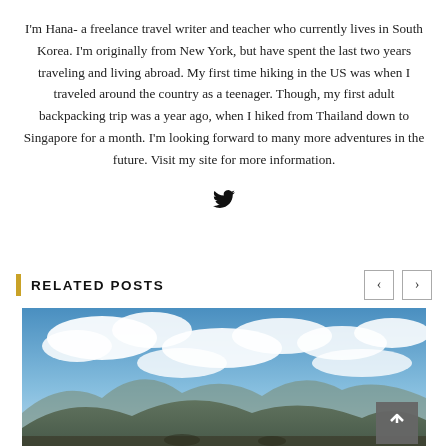I'm Hana- a freelance travel writer and teacher who currently lives in South Korea. I'm originally from New York, but have spent the last two years traveling and living abroad. My first time hiking in the US was when I traveled around the country as a teenager. Though, my first adult backpacking trip was a year ago, when I hiked from Thailand down to Singapore for a month. I'm looking forward to many more adventures in the future. Visit my site for more information.
[Figure (logo): Twitter bird icon]
RELATED POSTS
[Figure (photo): Outdoor landscape photo showing mountains, clouds and blue sky with people in foreground]